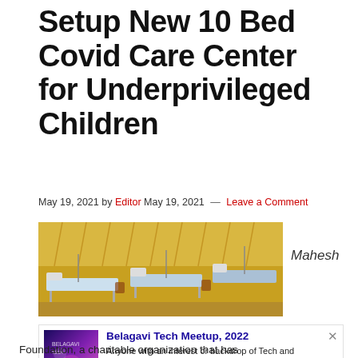Setup New 10 Bed Covid Care Center for Underprivileged Children
May 19, 2021 by Editor May 19, 2021 — Leave a Comment
[Figure (photo): A room with multiple hospital beds with yellow curtains in the background, resembling a Covid care center]
Mahesh
[Figure (infographic): Advertisement for Belagavi Tech Meetup 2022. Purple and pink gradient thumbnail with white text. Title: Belagavi Tech Meetup, 2022. Body: Anyone with an interest or backdrop of Tech and connection to Belagavi, Source: UXgrowth]
Foundation, a charitable organization that has